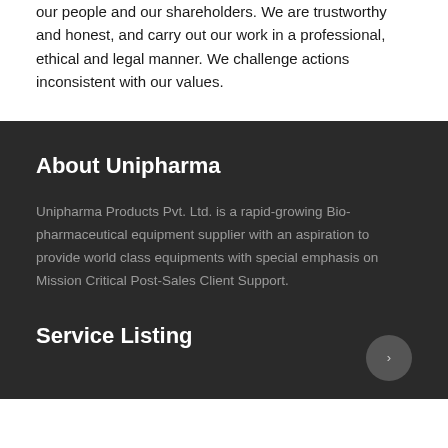our people and our shareholders. We are trustworthy and honest, and carry out our work in a professional, ethical and legal manner. We challenge actions inconsistent with our values.
About Unipharma
Unipharma Products Pvt. Ltd. is a rapid-growing Bio-pharmaceutical equipment supplier with an aspiration to provide world class equipments with special emphasis on Mission Critical Post-Sales Client Support.
Service Listing